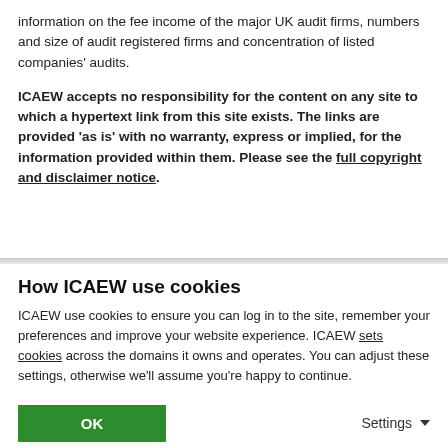information on the fee income of the major UK audit firms, numbers and size of audit registered firms and concentration of listed companies' audits.
ICAEW accepts no responsibility for the content on any site to which a hypertext link from this site exists. The links are provided 'as is' with no warranty, express or implied, for the information provided within them. Please see the full copyright and disclaimer notice.
How ICAEW use cookies
ICAEW use cookies to ensure you can log in to the site, remember your preferences and improve your website experience. ICAEW sets cookies across the domains it owns and operates. You can adjust these settings, otherwise we'll assume you're happy to continue.